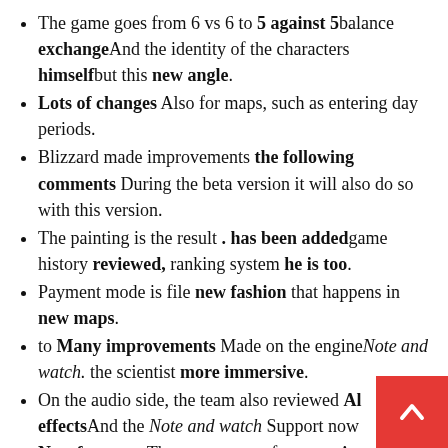The game goes from 6 vs 6 to 5 against 5balance exchangeAnd the identity of the characters himselfbut this new angle.
Lots of changes Also for maps, such as entering day periods.
Blizzard made improvements the following comments During the beta version it will also do so with this version.
The painting is the result . has been addedgame history reviewed, ranking system he is too.
Payment mode is file new fashion that happens in new maps.
to Many improvements Made on the engineNote and watch. the scientist more immersive.
On the audio side, the team also reviewed All effectsAnd the Note and watch Support now New features. There are some of new topics